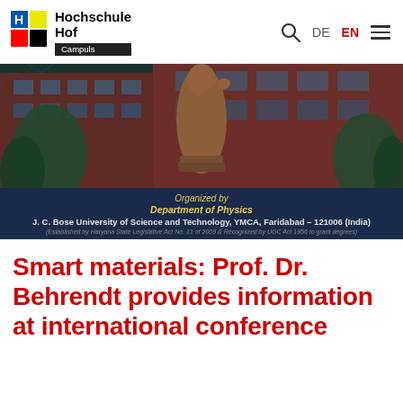Hochschule Hof — Campuls | DE | EN
[Figure (photo): Hero banner image showing a bronze statue of J.C. Bose in front of a red university building, with dark blue hexagonal pattern overlay. Caption reads: Organized by Department of Physics, J. C. Bose University of Science and Technology, YMCA, Faridabad – 121006 (India)]
Smart materials: Prof. Dr. Behrendt provides information at international conference